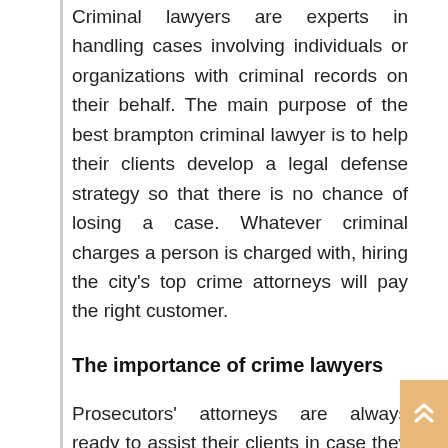Criminal lawyers are experts in handling cases involving individuals or organizations with criminal records on their behalf. The main purpose of the best brampton criminal lawyer is to help their clients develop a legal defense strategy so that there is no chance of losing a case. Whatever criminal charges a person is charged with, hiring the city's top crime attorneys will pay the right customer.
The importance of crime lawyers
Prosecutors' attorneys are always ready to assist their clients in case they are charged with any form of crime. Being experts in their field of knowledge, they